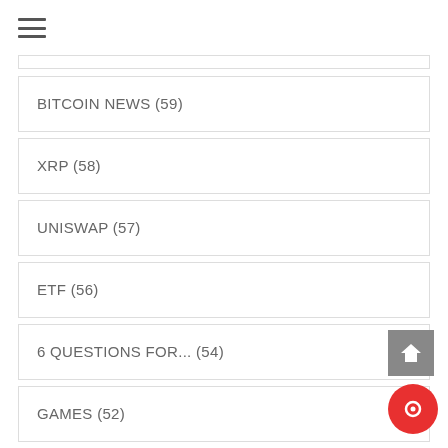BITCOIN NEWS (59)
XRP (58)
UNISWAP (57)
ETF (56)
6 QUESTIONS FOR... (54)
GAMES (52)
WEB3 (50)